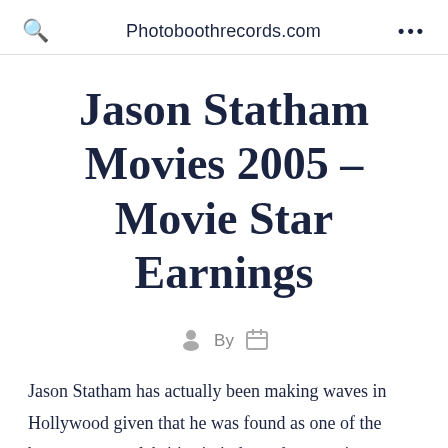Photoboothrecords.com
Jason Statham Movies 2005 – Movie Star Earnings
By
Jason Statham has actually been making waves in Hollywood given that he was found as one of the better young celebrities in independent movies.